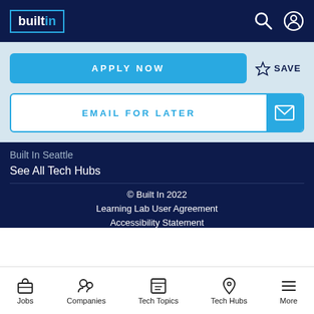builtin
APPLY NOW
SAVE
EMAIL FOR LATER
Built In Seattle
See All Tech Hubs
© Built In 2022
Learning Lab User Agreement
Accessibility Statement
Jobs  Companies  Tech Topics  Tech Hubs  More